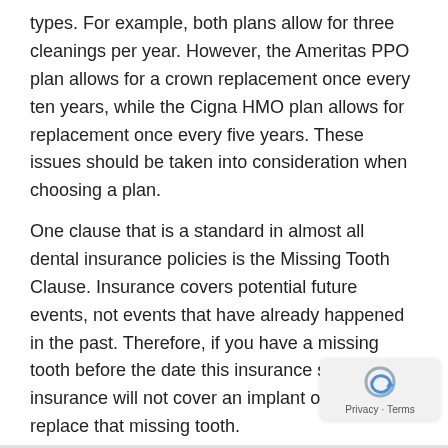types. For example, both plans allow for three cleanings per year. However, the Ameritas PPO plan allows for a crown replacement once every ten years, while the Cigna HMO plan allows for replacement once every five years. These issues should be taken into consideration when choosing a plan.
One clause that is a standard in almost all dental insurance policies is the Missing Tooth Clause. Insurance covers potential future events, not events that have already happened in the past. Therefore, if you have a missing tooth before the date this insurance started, the insurance will not cover an implant or bridge to replace that missing tooth.